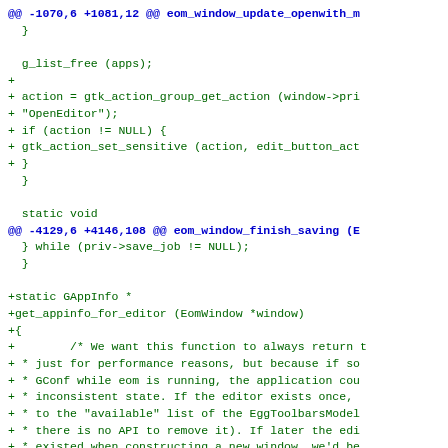@@ -1070,6 +1081,12 @@ eom_window_update_openwith_m
  }

  g_list_free (apps);
+
+ action = gtk_action_group_get_action (window->pri
+ "OpenEditor");
+ if (action != NULL) {
+ gtk_action_set_sensitive (action, edit_button_act
+ }
  }

  static void
@@ -4129,6 +4146,108 @@ eom_window_finish_saving (E
  } while (priv->save_job != NULL);
  }

+static GAppInfo *
+get_appinfo_for_editor (EomWindow *window)
+{
+        /* We want this function to always return t
+ * just for performance reasons, but because if so
+ * GConf while eom is running, the application cou
+ * inconsistent state. If the editor exists once,
+ * to the "available" list of the EggToolbarsModel
+ * there is no API to remove it). If later the edi
+ * existed when constructing a new window, we'd be
+ * construct a GtkAction for the editor for that w
+ * assertion failures when viewing the "Edit Toolb
+ * (item is available, but can't find the GtkActio